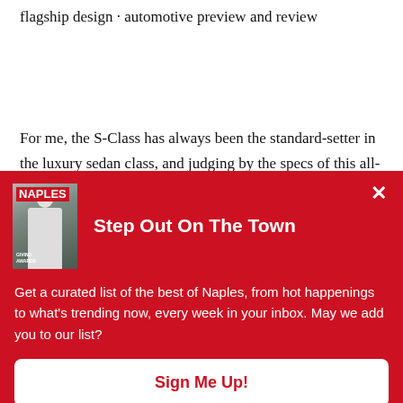flagship design · automotive preview and review
For me, the S-Class has always been the standard-setter in the luxury sedan class, and judging by the specs of this all-
[Figure (screenshot): Red modal popup overlay with Naples magazine cover image on left. Title reads 'Step Out On The Town'. Body text: 'Get a curated list of the best of Naples, from hot happenings to what's trending now, every week in your inbox. May we add you to our list?' with a 'Sign Me Up!' button at the bottom. An X close button is in the top right corner.]